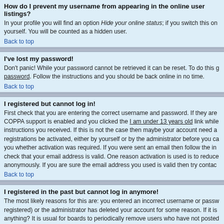How do I prevent my username from appearing in the online user listings?
In your profile you will find an option Hide your online status; if you switch this on yourself. You will be counted as a hidden user.
Back to top
I've lost my password!
Don't panic! While your password cannot be retrieved it can be reset. To do this g password. Follow the instructions and you should be back online in no time.
Back to top
I registered but cannot log in!
First check that you are entering the correct username and password. If they are COPPA support is enabled and you clicked the I am under 13 years old link while instructions you received. If this is not the case then maybe your account need a registrations be activated, either by yourself or by the administrator before you ca you whether activation was required. If you were sent an email then follow the in check that your email address is valid. One reason activation is used is to reduce anonymously. If you are sure the email address you used is valid then try contac
Back to top
I registered in the past but cannot log in anymore!
The most likely reasons for this are: you entered an incorrect username or passw registered) or the administrator has deleted your account for some reason. If it is anything? It is usual for boards to periodically remove users who have not posted Try registering again and get involved in discussions.
Back to top